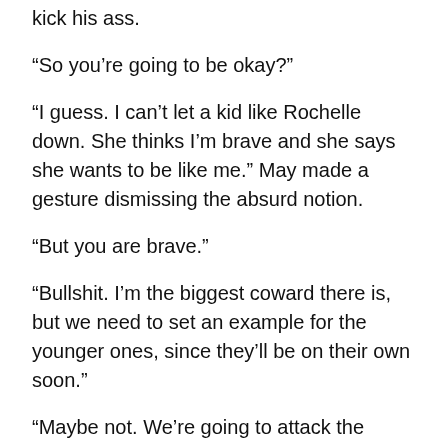kick his ass.
“So you’re going to be okay?”
“I guess. I can’t let a kid like Rochelle down. She thinks I’m brave and she says she wants to be like me.” May made a gesture dismissing the absurd notion.
“But you are brave.”
“Bullshit. I’m the biggest coward there is, but we need to set an example for the younger ones, since they’ll be on their own soon.”
“Maybe not. We’re going to attack the bunker and see if there’s a Telo cure, remember?”
“Yes, the Telo cure.” May sank deeper into the pillows and closed her eyes. “I have a feeling when you get there, it won’t be what you think.”
“What do you mean? So let them someth—